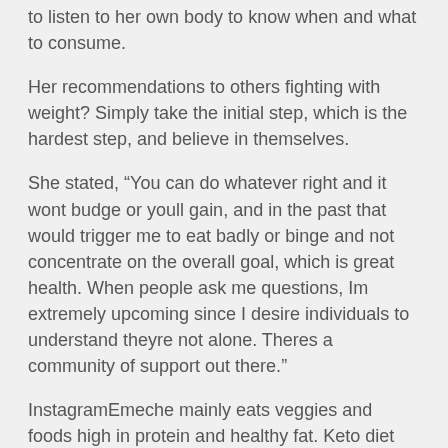to listen to her own body to know when and what to consume.
Her recommendations to others fighting with weight? Simply take the initial step, which is the hardest step, and believe in themselves.
She stated, “You can do whatever right and it wont budge or youll gain, and in the past that would trigger me to eat badly or binge and not concentrate on the overall goal, which is great health. When people ask me questions, Im extremely upcoming since I desire individuals to understand theyre not alone. Theres a community of support out there.”
InstagramEmeche mainly eats veggies and foods high in protein and healthy fat. Keto diet plan essentials include small amounts of meat, eggs, and fish, butter, seeds, avocados and nuts, full-fat cheese and other dairy items, oils, and non-starchy and fibrous vegetables.